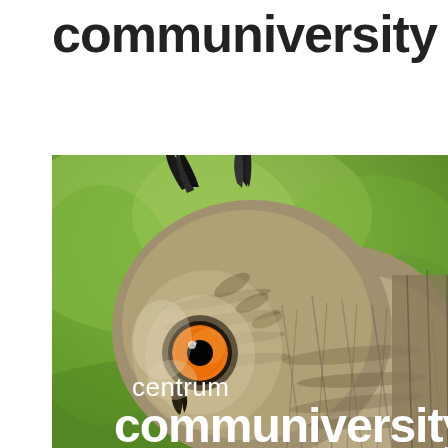communiversity
[Figure (photo): Close-up photograph of a Eurasian eagle-owl with prominent orange eyes and ear tufts against a blurred green background, overlaid with the text 'centrum communiversity' in white.]